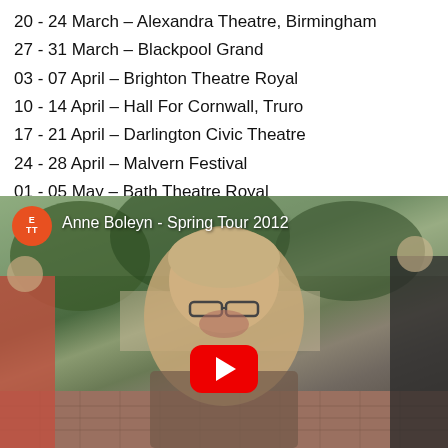20 - 24 March – Alexandra Theatre, Birmingham
27 - 31 March – Blackpool Grand
03 - 07 April – Brighton Theatre Royal
10 - 14 April – Hall For Cornwall, Truro
17 - 21 April – Darlington Civic Theatre
24 - 28 April – Malvern Festival
01 - 05 May – Bath Theatre Royal
08 - 12 May – Festival Theatre, Edinburgh
[Figure (screenshot): YouTube video thumbnail showing a woman with glasses outdoors, titled 'Anne Boleyn - Spring Tour 2012', with ETT logo circle in top-left and red YouTube play button in center.]